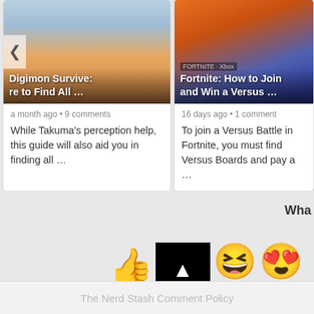[Figure (screenshot): Digimon Survive article card with anime characters image and title overlay]
a month ago • 9 comments
While Takuma's perception help, this guide will also aid you in finding all …
[Figure (screenshot): Fortnite article card with Goku and Vegeta image and title overlay]
16 days ago • 1 comment
To join a Versus Battle in Fortnite, you must find Versus Boards and pay a …
Wha
[Figure (infographic): Three emoji reaction icons: thumbs up (Upvote), laughing face, heart eyes face. Below is a black upvote button with up arrow.]
Upvote
Lo
The Nerd Stash Comment Policy